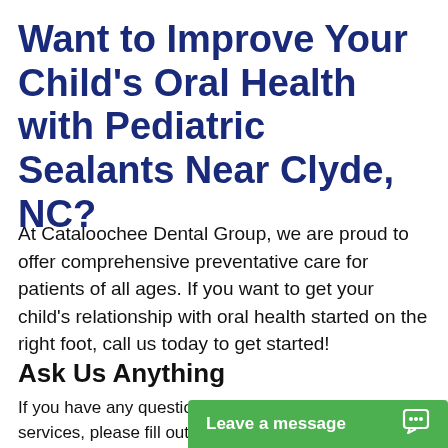Want to Improve Your Child's Oral Health with Pediatric Sealants Near Clyde, NC?
At Cataloochee Dental Group, we are proud to offer comprehensive preventative care for patients of all ages. If you want to get your child's relationship with oral health started on the right foot, call us today to get started!
Ask Us Anything
If you have any questions about our practice or services, please fill out the form below and a re... possible.